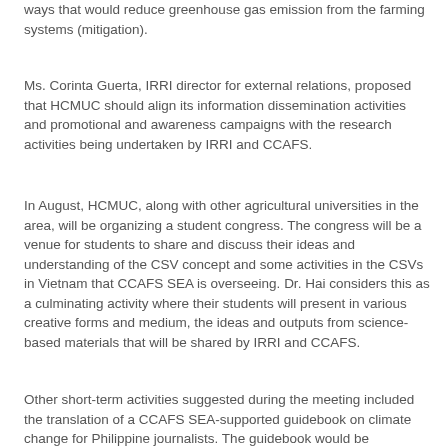ways that would reduce greenhouse gas emission from the farming systems (mitigation).
Ms. Corinta Guerta, IRRI director for external relations, proposed that HCMUC should align its information dissemination activities and promotional and awareness campaigns with the research activities being undertaken by IRRI and CCAFS.
In August, HCMUC, along with other agricultural universities in the area, will be organizing a student congress. The congress will be a venue for students to share and discuss their ideas and understanding of the CSV concept and some activities in the CSVs in Vietnam that CCAFS SEA is overseeing. Dr. Hai considers this as a culminating activity where their students will present in various creative forms and medium, the ideas and outputs from science-based materials that will be shared by IRRI and CCAFS.
Other short-term activities suggested during the meeting included the translation of a CCAFS SEA-supported guidebook on climate change for Philippine journalists. The guidebook would be translated into Vietnamese and the d...